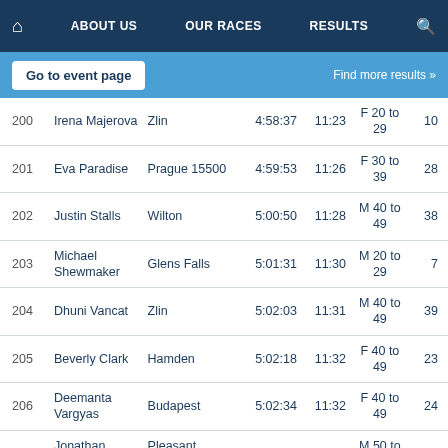🏠  ABOUT US  OUR RACES  RESULTS  🔍
Go to event page    Find more results »
| # | Name | City | Time | Pace | Category | Place |
| --- | --- | --- | --- | --- | --- | --- |
| 200 | Irena Majerova | Zlin | 4:58:37 | 11:23 | F 20 to 29 | 10 |
| 201 | Eva Paradise | Prague 15500 | 4:59:53 | 11:26 | F 30 to 39 | 28 |
| 202 | Justin Stalls | Wilton | 5:00:50 | 11:28 | M 40 to 49 | 38 |
| 203 | Michael Shewmaker | Glens Falls | 5:01:31 | 11:30 | M 20 to 29 | 7 |
| 204 | Dhuni Vancat | Zlin | 5:02:03 | 11:31 | M 40 to 49 | 39 |
| 205 | Beverly Clark | Hamden | 5:02:18 | 11:32 | F 40 to 49 | 23 |
| 206 | Deemanta Vargyas | Budapest | 5:02:34 | 11:32 | F 40 to 49 | 24 |
| 207 | Jonathan Harris | Pleasant Valley | 5:02:39 | 11:33 | M 50 to 59 | 29 |
| 208 | Nataliya Savchenko | Simfierodol | 5:03:10 | 11:34 | F 60 to 69 | 3 |
| 209 | Michael Byrne | South Plainfield | 5:03:49 | 11:35 | M 40 to 49 | 40 |
| 210 | Elizabeth Melillo | Northport | 5:03:50 | 11:35 | F 50 to 59 | 9 |